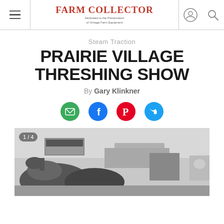Farm Collector — Dedicated to the Preservation of Vintage Farm Equipment
Steam Traction
PRAIRIE VILLAGE THRESHING SHOW
By Gary Klinkner
[Figure (photo): Black and white photograph of horses and people at the Prairie Village Threshing Show, showing horses in foreground, a smiling woman to the right, vehicles and fair signage in background. Counter shows 1/4.]